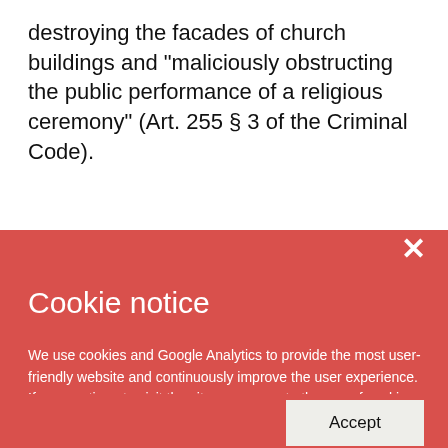destroying the facades of church buildings and "maliciously obstructing the public performance of a religious ceremony" (Art. 255 § 3 of the Criminal Code).
Cookie notice
We use cookies and Google Analytics to provide the most user-friendly website and continuously improve the user experience. If you continue to visit the site, you agree to the use of cookies and Google Analytics. For more information see privacy policy.